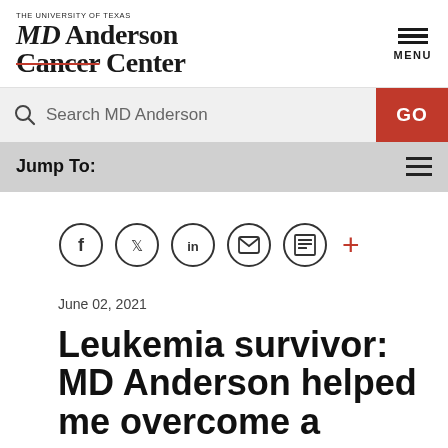[Figure (logo): MD Anderson Cancer Center logo with 'The University of Texas' above and 'Cancer' with red strikethrough]
[Figure (infographic): Hamburger menu icon with MENU label]
Search MD Anderson
GO
Jump To:
[Figure (infographic): Social sharing icons: Facebook, Twitter, LinkedIn, share, print circles and a red plus sign]
June 02, 2021
Leukemia survivor: MD Anderson helped me overcome a